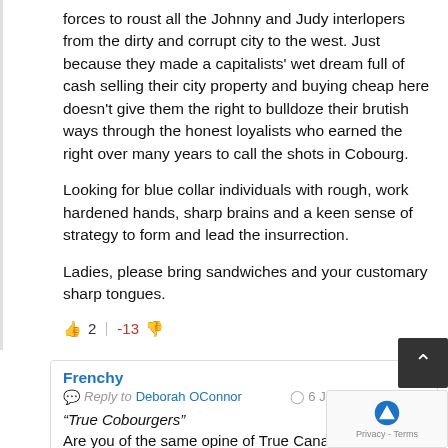forces to roust all the Johnny and Judy interlopers from the dirty and corrupt city to the west. Just because they made a capitalists' wet dream full of cash selling their city property and buying cheap here doesn't give them the right to bulldoze their brutish ways through the honest loyalists who earned the right over many years to call the shots in Cobourg.
Looking for blue collar individuals with rough, work hardened hands, sharp brains and a keen sense of strategy to form and lead the insurrection.
Ladies, please bring sandwiches and your customary sharp tongues.
2 | -13
Frenchy
Reply to Deborah OConnor   6 June 2021 1...m
“True Cobourgers”
Are you of the same opine of True Canadians?